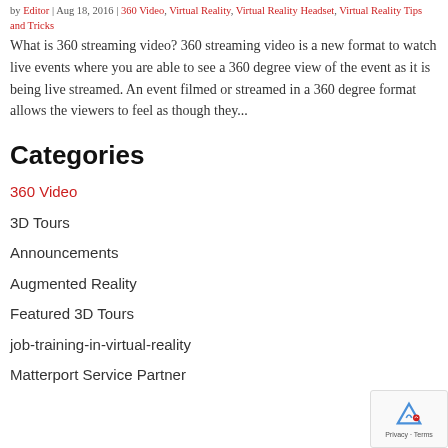by Editor | Aug 18, 2016 | 360 Video, Virtual Reality, Virtual Reality Headset, Virtual Reality Tips and Tricks
What is 360 streaming video? 360 streaming video is a new format to watch live events where you are able to see a 360 degree view of the event as it is being live streamed. An event filmed or streamed in a 360 degree format allows the viewers to feel as though they...
Categories
360 Video
3D Tours
Announcements
Augmented Reality
Featured 3D Tours
job-training-in-virtual-reality
Matterport Service Partner